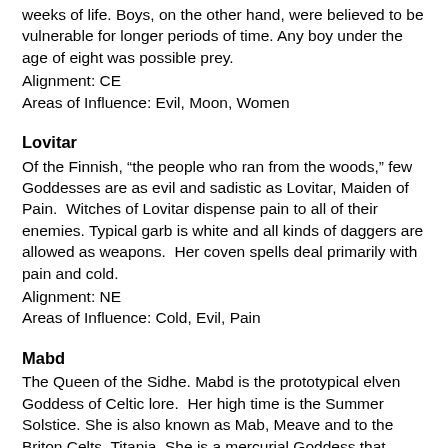weeks of life. Boys, on the other hand, were believed to be vulnerable for longer periods of time. Any boy under the age of eight was possible prey.
Alignment: CE
Areas of Influence: Evil, Moon, Women
Lovitar
Of the Finnish, “the people who ran from the woods,” few Goddesses are as evil and sadistic as Lovitar, Maiden of Pain.  Witches of Lovitar dispense pain to all of their enemies. Typical garb is white and all kinds of daggers are allowed as weapons.  Her coven spells deal primarily with pain and cold.
Alignment: NE
Areas of Influence: Cold, Evil, Pain
Mabd
The Queen of the Sidhe. Mabd is the prototypical elven Goddess of Celtic lore.  Her high time is the Summer Solstice. She is also known as Mab, Meave and to the Briton Celts, Titania. She is a mercurial Goddess that reflects the nature of the forest: life giving to some, deadly to others.